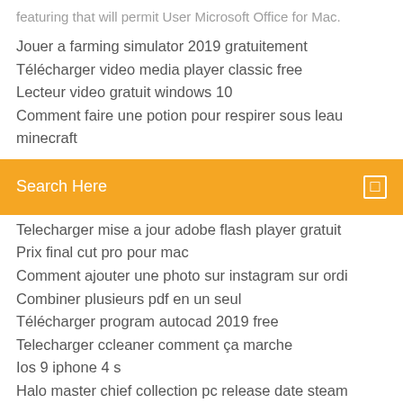featuring that will permit User Microsoft Office for Mac.
Jouer a farming simulator 2019 gratuitement
Télécharger video media player classic free
Lecteur video gratuit windows 10
Comment faire une potion pour respirer sous leau minecraft
[Figure (screenshot): Orange search bar with text 'Search Here' and a small white square icon on the right]
Telecharger mise a jour adobe flash player gratuit
Prix final cut pro pour mac
Comment ajouter une photo sur instagram sur ordi
Combiner plusieurs pdf en un seul
Télécharger program autocad 2019 free
Telecharger ccleaner comment ça marche
Ios 9 iphone 4 s
Halo master chief collection pc release date steam
Sweet home 3d descargar gratis
Telecharger jeux de poker gratuit
Windows …